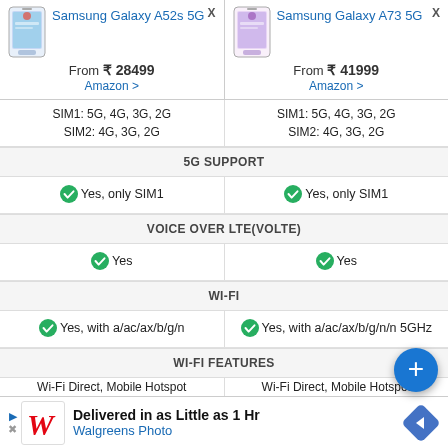Samsung Galaxy A52s 5G — From ₹ 28499, Amazon >
Samsung Galaxy A73 5G — From ₹ 41999, Amazon >
SIM1: 5G, 4G, 3G, 2G
SIM2: 4G, 3G, 2G
SIM1: 5G, 4G, 3G, 2G
SIM2: 4G, 3G, 2G
5G SUPPORT
Yes, only SIM1
Yes, only SIM1
VOICE OVER LTE(VOLTE)
Yes
Yes
WI-FI
Yes, with a/ac/ax/b/g/n
Yes, with a/ac/ax/b/g/n/n 5GHz
WI-FI FEATURES
Wi-Fi Direct, Mobile Hotspot
Wi-Fi Direct, Mobile Hotspot